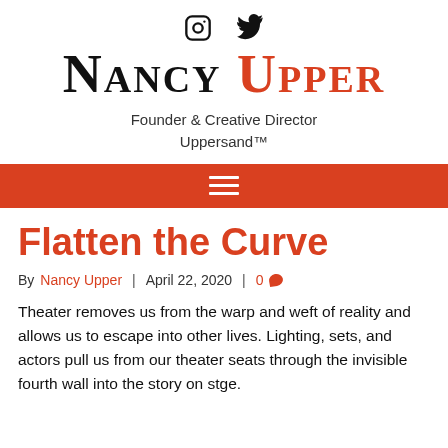[Figure (other): Social media icons: Instagram and Twitter]
Nancy Upper
Founder & Creative Director
Uppersand™
[Figure (other): Red navigation bar with hamburger menu icon]
Flatten the Curve
By Nancy Upper | April 22, 2020 | 0
Theater removes us from the warp and weft of reality and allows us to escape into other lives. Lighting, sets, and actors pull us from our theater seats through the invisible fourth wall into the story on stge.